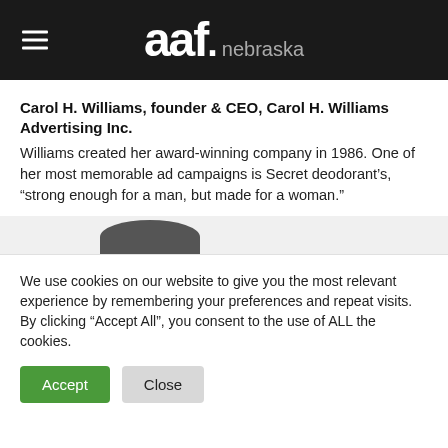aaf. nebraska
Carol H. Williams, founder & CEO, Carol H. Williams Advertising Inc.
Williams created her award-winning company in 1986. One of her most memorable ad campaigns is Secret deodorant’s, “strong enough for a man, but made for a woman.”
[Figure (photo): Partial photo of a person, only top of head visible, cropped at bottom of content area]
We use cookies on our website to give you the most relevant experience by remembering your preferences and repeat visits. By clicking “Accept All”, you consent to the use of ALL the cookies.